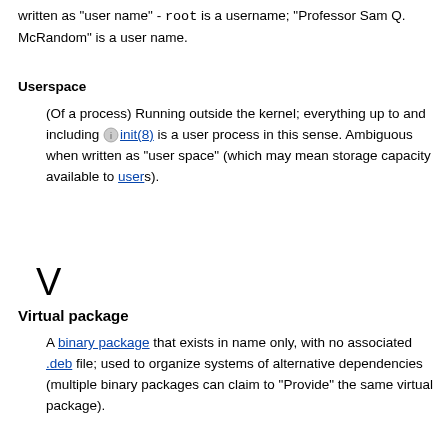written as "user name" - root is a username; "Professor Sam Q. McRandom" is a user name.
Userspace
(Of a process) Running outside the kernel; everything up to and including init(8) is a user process in this sense. Ambiguous when written as "user space" (which may mean storage capacity available to users).
V
Virtual package
A binary package that exists in name only, with no associated .deb file; used to organize systems of alternative dependencies (multiple binary packages can claim to "Provide" the same virtual package).